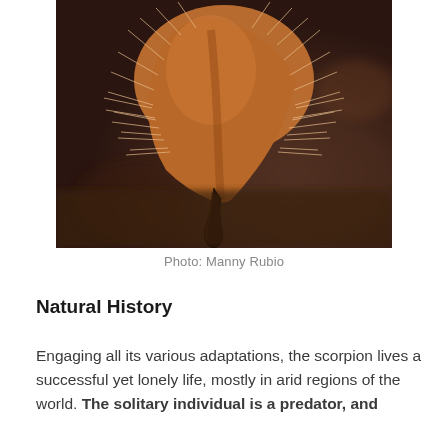[Figure (photo): Close-up macro photograph of a scorpion's stinger/telson showing the curved barbed tip with fine hair-like setae radiating outward, against a blurred dark brown background. The scorpion part is orange-brown in color.]
Photo: Manny Rubio
Natural History
Engaging all its various adaptations, the scorpion lives a successful yet lonely life, mostly in arid regions of the world. The solitary individual is a predator, and